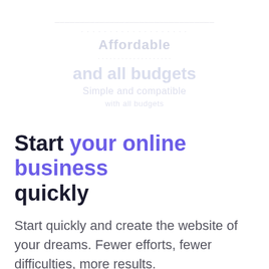[Figure (other): Faded background watermark text showing blurred/ghosted words including 'Affordable', pricing text, and other semi-transparent text elements serving as decorative background]
Start your online business quickly
Start quickly and create the website of your dreams. Fewer efforts, fewer difficulties, more results.